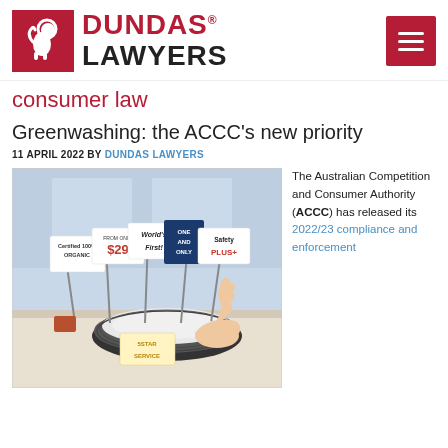[Figure (logo): Dundas Lawyers logo with red lion icon and DUNDAS LAWYERS text, plus hamburger menu button]
consumer law
Greenwashing: the ACCC’s new priority
11 APRIL 2022 BY DUNDAS LAWYERS
[Figure (photo): Photo of a hand pointing to a circular product display with various marketing claim signs including 'Certified 100% ORGANIC', 'FROM ONLY $29', 'World's First!', 'ONE AND ONLY', 'Safety PLUS+', '5STAR SERVICE']
The Australian Competition and Consumer Authority (ACCC) has released its 2022/23 compliance and enforcement